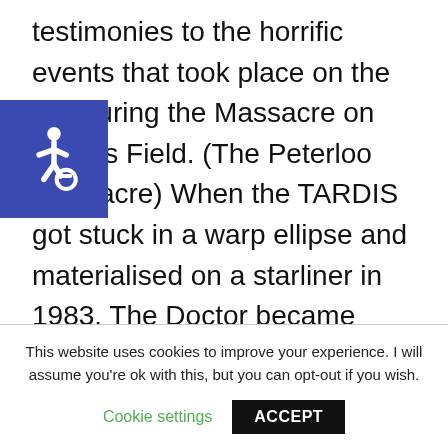testimonies to the horrific events that took place on the city during the Massacre on Peter's Field. (The Peterloo Massacre) When the TARDIS got stuck in a warp ellipse and materialised on a starliner in 1983, The Doctor became trapped at Brendon Public School, where he met a teenage alien in exile named Vislor Turlough, who the Black Guardian
[Figure (illustration): Accessibility icon (wheelchair symbol) on a dark blue/indigo square background, positioned in the upper-left area overlapping the text.]
This website uses cookies to improve your experience. I will assume you're ok with this, but you can opt-out if you wish.
Cookie settings   ACCEPT